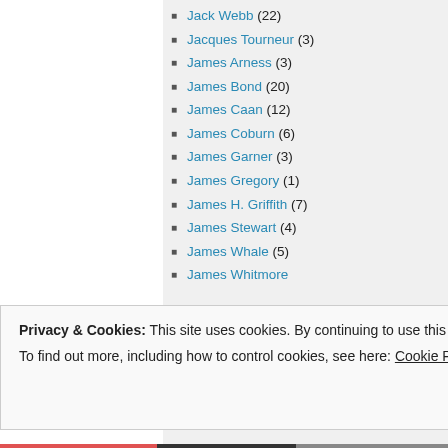Jack Webb (22)
Jacques Tourneur (3)
James Arness (3)
James Bond (20)
James Caan (12)
James Coburn (6)
James Garner (3)
James Gregory (1)
James H. Griffith (7)
James Stewart (4)
James Whale (5)
James Whitmore
Privacy & Cookies: This site uses cookies. By continuing to use this website, you agree to their use.
To find out more, including how to control cookies, see here: Cookie Policy
Close and accept